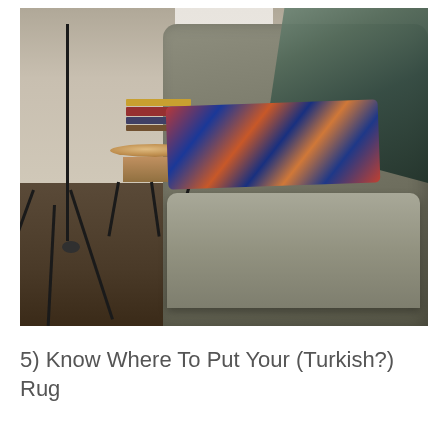[Figure (photo): Interior room photo showing a gray upholstered wingback armchair with a colorful Turkish-style decorative pillow on the seat and a dark patterned throw blanket draped over the back. To the left is a natural wood stump side table on metal legs with a stack of books on top, and a black tripod floor lamp. The room has a light-colored wall with a white built-in shelf nook and dark hardwood flooring.]
5) Know Where To Put Your (Turkish?) Rug